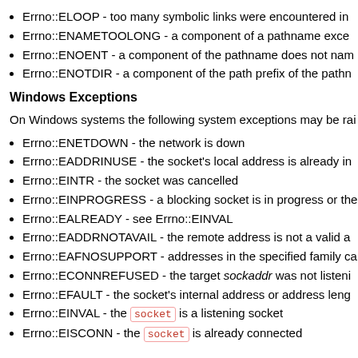Errno::ELOOP - too many symbolic links were encountered in
Errno::ENAMETOOLONG - a component of a pathname exce
Errno::ENOENT - a component of the pathname does not nam
Errno::ENOTDIR - a component of the path prefix of the pathn
Windows Exceptions
On Windows systems the following system exceptions may be rai
Errno::ENETDOWN - the network is down
Errno::EADDRINUSE - the socket's local address is already in
Errno::EINTR - the socket was cancelled
Errno::EINPROGRESS - a blocking socket is in progress or the
Errno::EALREADY - see Errno::EINVAL
Errno::EADDRNOTAVAIL - the remote address is not a valid a
Errno::EAFNOSUPPORT - addresses in the specified family ca
Errno::ECONNREFUSED - the target sockaddr was not listeni
Errno::EFAULT - the socket's internal address or address leng
Errno::EINVAL - the socket is a listening socket
Errno::EISCONN - the socket is already connected